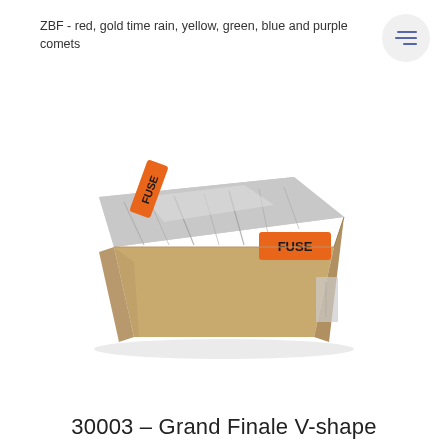ZBF - red, gold time rain, yellow, green, blue and purple comets
[Figure (photo): Product photo of a fireworks cake wrapped in brown kraft paper and silver foil on top, with two orange FUSE labels on the front and left side.]
30003 – Grand Finale V-shape